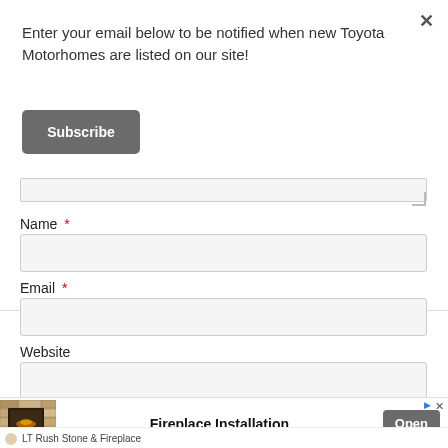Enter your email below to be notified when new Toyota Motorhomes are listed on our site!
Subscribe
Name *
Email *
Website
[Figure (screenshot): Advertisement banner for Fireplace Installation by LT Rush Stone & Fireplace with an Open button and a photo of a stone fireplace]
Fireplace Installation
LT Rush Stone & Fireplace